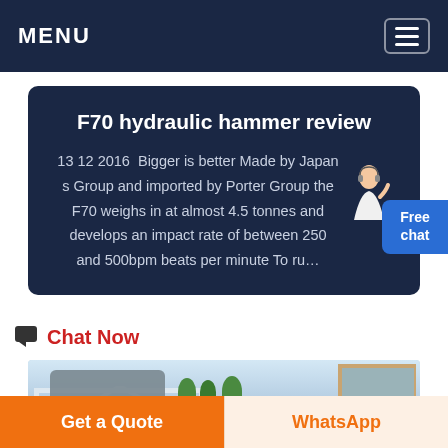MENU
F70 hydraulic hammer review
13 12 2016  Bigger is better Made by Japan s Group and imported by Porter Group the F70 weighs in at almost 4.5 tonnes and develops an impact rate of between 250 and 500bpm beats per minute To ru...
Chat Now
[Figure (photo): Outdoor factory/industrial facility scene with white structural frames, heavy equipment on a truck, trees, and a building in the background]
Get a Quote
WhatsApp